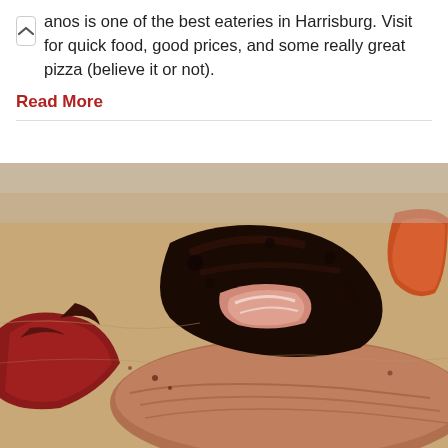anos is one of the best eateries in Harrisburg. Visit for quick food, good prices, and some really great pizza (believe it or not).
Read More
[Figure (photo): Close-up photo of smoked BBQ meats including brisket and ribs on brown butcher paper, showing charred bark and pink smoke ring on the meat.]